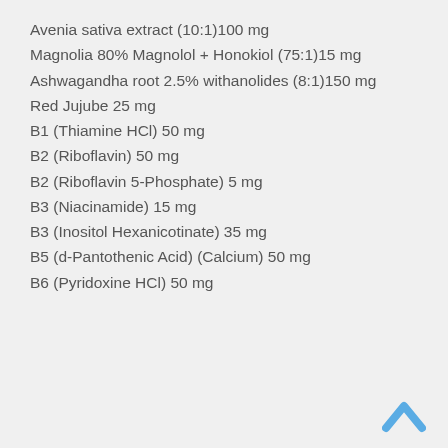Avenia sativa extract (10:1)100 mg
Magnolia 80% Magnolol + Honokiol (75:1)15 mg
Ashwagandha root 2.5% withanolides (8:1)150 mg
Red Jujube 25 mg
B1 (Thiamine HCl) 50 mg
B2 (Riboflavin) 50 mg
B2 (Riboflavin 5-Phosphate) 5 mg
B3 (Niacinamide) 15 mg
B3 (Inositol Hexanicotinate) 35 mg
B5 (d-Pantothenic Acid) (Calcium) 50 mg
B6 (Pyridoxine HCl) 50 mg
[Figure (illustration): Blue upward-pointing chevron/arrow icon in bottom-right corner]